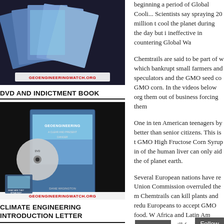[Figure (photo): Stack of DVDs and materials from geoengineering watch with GEOENGINEERINGWATCH.ORG label, shown on dark background]
DVD AND INDICTMENT BOOK
[Figure (photo): Book and DVD set for Geoengineering with a disk and printed materials, showing GEOENGINEERWATCHINGWATCH.ORG label at bottom, on dark background]
CLIMATE ENGINEERING
INTRODUCTION LETTER
beginning a period of Global Cooling. Scientists say spraying 20 million t cool the planet during the day but ineffective in countering Global Wa
Chemtrails are said to be part of w which bankrupt small farmers and speculators and the GMO seed co GMO corn. In the videos below org them out of business forcing them
One in ten American teenagers by better than senior citizens. This is t GMO High Fructose Corn Syrup in of the human liver can only aid the of planet earth.
Several European nations have re Union Commission overruled the m Chemtrails can kill plants and redu Europeans to accept GMO food. W Africa and Latin Am will food.